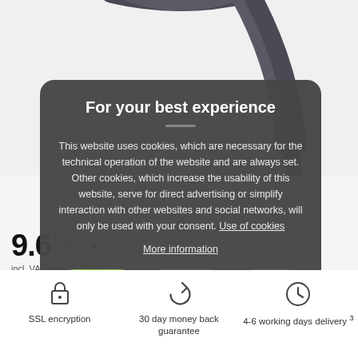[Figure (photo): Partial product image of dark gray wireless headphones/wearable device visible at the top of the page]
For your best experience
This website uses cookies, which are necessary for the technical operation of the website and are always set. Other cookies, which increase the usability of this website, serve for direct advertising or simplify interaction with other websites and social networks, will only be used with your consent. Use of cookies
More information
Accept all
Configure
Decline
9.69€ *
incl. VAT, excl. Shipment
1
Add to cart
SSL encryption
30 day money back guarantee
4-6 working days delivery 3